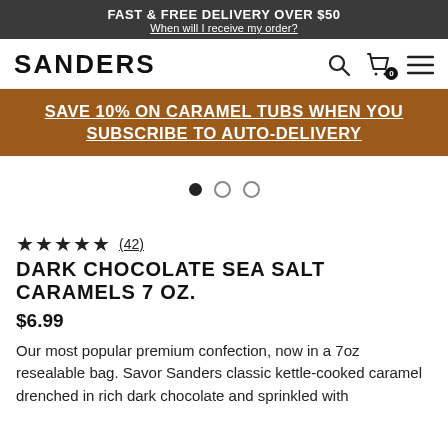FAST & FREE DELIVERY OVER $50
When will I receive my order?
[Figure (logo): Sanders logo wordmark in bold black text, with search, cart (0 items), and menu icons on the right]
SAVE 10% ON CARAMEL TUBS WHEN YOU SUBSCRIBE TO AUTO-DELIVERY
[Figure (other): Product image carousel area with three navigation dots (first filled, two empty)]
★★★★★ (42)
DARK CHOCOLATE SEA SALT CARAMELS 7 OZ.
$6.99
Our most popular premium confection, now in a 7oz resealable bag. Savor Sanders classic kettle-cooked caramel drenched in rich dark chocolate and sprinkled with sea salt. No artificial additives, no artificial